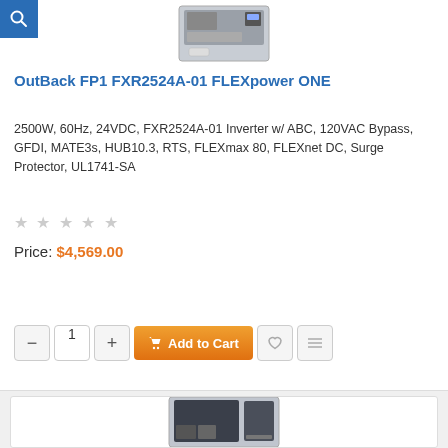[Figure (photo): Product photo of OutBack FP1 FXR2524A-01 FLEXpower ONE unit mounted on panel, top portion visible]
OutBack FP1 FXR2524A-01 FLEXpower ONE
2500W, 60Hz, 24VDC, FXR2524A-01 Inverter w/ ABC, 120VAC Bypass, GFDI, MATE3s, HUB10.3, RTS, FLEXmax 80, FLEXnet DC, Surge Protector, UL1741-SA
★ ★ ★ ★ ★
Price: $4,569.00
[Figure (photo): Product photo of a second OutBack power unit, bottom portion of page, partially cropped]